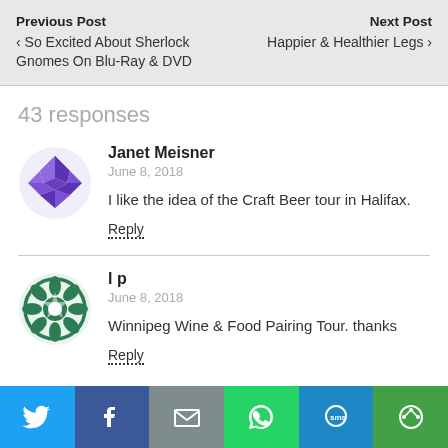Previous Post
‹ So Excited About Sherlock Gnomes On Blu-Ray & DVD
Next Post
Happier & Healthier Legs ›
43 responses
Janet Meisner
June 8, 2018
I like the idea of the Craft Beer tour in Halifax.
Reply
l p
June 8, 2018
Winnipeg Wine & Food Pairing Tour. thanks
Reply